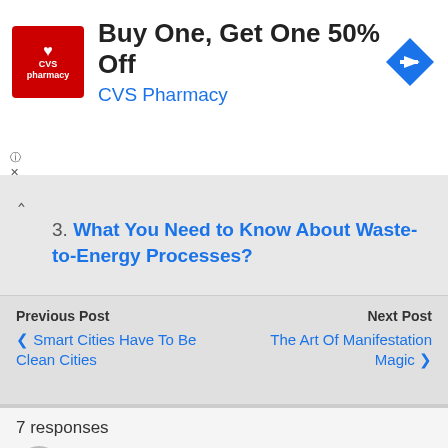[Figure (other): CVS Pharmacy advertisement banner: Buy One, Get One 50% Off]
3. What You Need to Know About Waste-to-Energy Processes?
4. Wastes from Leather Tanning
Previous Post
< Smart Cities Have To Be Clean Cities
Next Post
The Art Of Manifestation Magic >
7 responses
Felix Staratschek
January 3, 2009